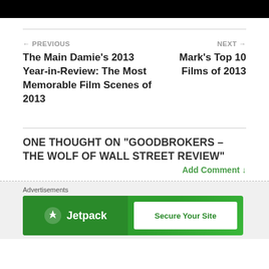[Figure (other): Black bar at top of page, partial image]
← PREVIOUS
The Main Damie's 2013 Year-in-Review: The Most Memorable Film Scenes of 2013
NEXT →
Mark's Top 10 Films of 2013
ONE THOUGHT ON "GOODBROKERS – THE WOLF OF WALL STREET REVIEW"
Add Comment ↓
[Figure (other): Advertisement banner for Jetpack - Secure Your Site]